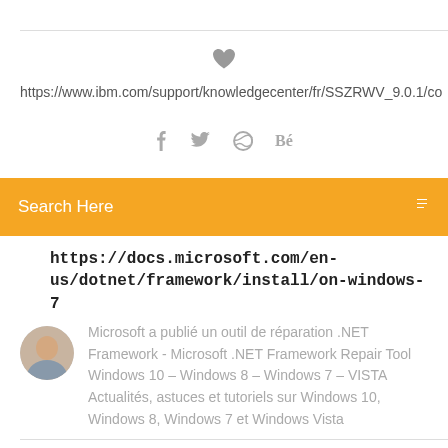[Figure (other): Heart/favorite icon (filled gray heart shape)]
https://www.ibm.com/support/knowledgecenter/fr/SSZRWV_9.0.1/co
[Figure (other): Social media icons: Facebook (f), Twitter (bird), Dribbble (circle), Behance (Be)]
Search Here
https://docs.microsoft.com/en-us/dotnet/framework/install/on-windows-7
[Figure (photo): Round avatar photo of a man]
Microsoft a publié un outil de réparation .NET Framework - Microsoft .NET Framework Repair Tool Windows 10 – Windows 8 – Windows 7 – VISTA Actualités, astuces et tutoriels sur Windows 10, Windows 8, Windows 7 et Windows Vista